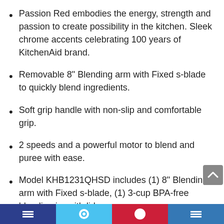Passion Red embodies the energy, strength and passion to create possibility in the kitchen. Sleek chrome accents celebrating 100 years of KitchenAid brand.
Removable 8" Blending arm with Fixed s-blade to quickly blend ingredients.
Soft grip handle with non-slip and comfortable grip.
2 speeds and a powerful motor to blend and puree with ease.
Model KHB1231QHSD includes (1) 8" Blending arm with Fixed s-blade, (1) 3-cup BPA-free blending jar with lid.
Social media footer bar